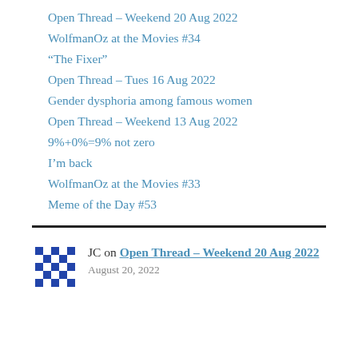Open Thread – Weekend 20 Aug 2022
WolfmanOz at the Movies #34
“The Fixer”
Open Thread – Tues 16 Aug 2022
Gender dysphoria among famous women
Open Thread – Weekend 13 Aug 2022
9%+0%=9% not zero
I’m back
WolfmanOz at the Movies #33
Meme of the Day #53
JC on Open Thread – Weekend 20 Aug 2022
August 20, 2022